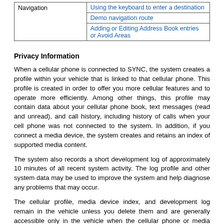| Navigation | Using the keyboard to enter a destination |
|  | Demo navigation route |
|  | Adding or Editing Address Book entries or Avoid Areas |
Privacy Information
When a cellular phone is connected to SYNC, the system creates a profile within your vehicle that is linked to that cellular phone. This profile is created in order to offer you more cellular features and to operate more efficiently. Among other things, this profile may contain data about your cellular phone book, text messages (read and unread), and call history, including history of calls when your cell phone was not connected to the system. In addition, if you connect a media device, the system creates and retains an index of supported media content.
The system also records a short development log of approximately 10 minutes of all recent system activity. The log profile and other system data may be used to improve the system and help diagnose any problems that may occur.
The cellular profile, media device index, and development log remain in the vehicle unless you delete them and are generally accessible only in the vehicle when the cellular phone or media player is connected. If you no longer plan to use the system or the vehicle, we